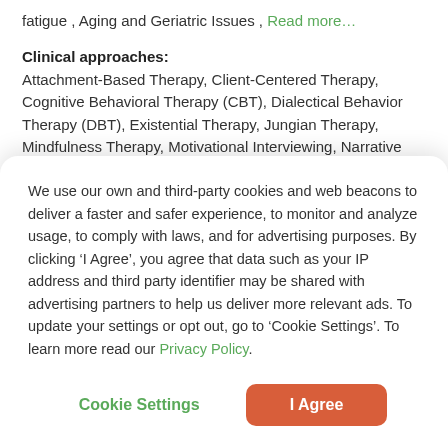fatigue , Aging and Geriatric Issues , Read more…
Clinical approaches:
Attachment-Based Therapy, Client-Centered Therapy, Cognitive Behavioral Therapy (CBT), Dialectical Behavior Therapy (DBT), Existential Therapy, Jungian Therapy, Mindfulness Therapy, Motivational Interviewing, Narrative Therapy, Psychodynamic Therapy, Solution-Focused Therapy, Somatic Therapy, Trauma-Focused Therapy
We use our own and third-party cookies and web beacons to deliver a faster and safer experience, to monitor and analyze usage, to comply with laws, and for advertising purposes. By clicking ‘I Agree’, you agree that data such as your IP address and third party identifier may be shared with advertising partners to help us deliver more relevant ads. To update your settings or opt out, go to ‘Cookie Settings’. To learn more read our Privacy Policy.
Cookie Settings | I Agree